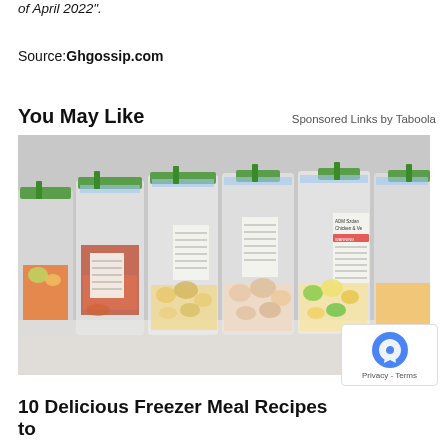of April 2022".
Source:Ghgossip.com
You May Like
Sponsored Links by Taboola
[Figure (photo): Several clear zip-lock freezer bags with green clips/stands filled with various meal ingredients including meat, vegetables, and sauces, standing upright on a white surface.]
10 Delicious Freezer Meal Recipes to